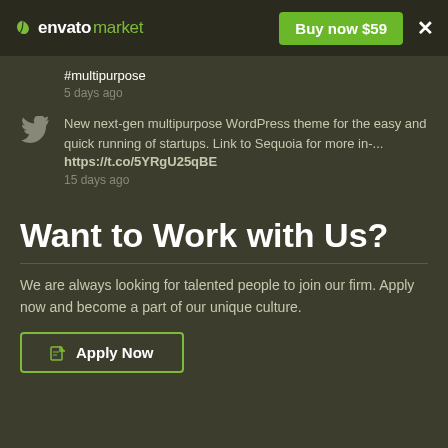envato market — Buy now $59
#multipurpose
5 days ago
New next-gen multipurpose WordPress theme for the easy and quick running of startups. Link to Sequoia for more in-...
https://t.co/5YRgU25qBE
15 days ago
Want to Work with Us?
We are always looking for talented people to join our firm. Apply now and become a part of our unique culture.
Apply Now